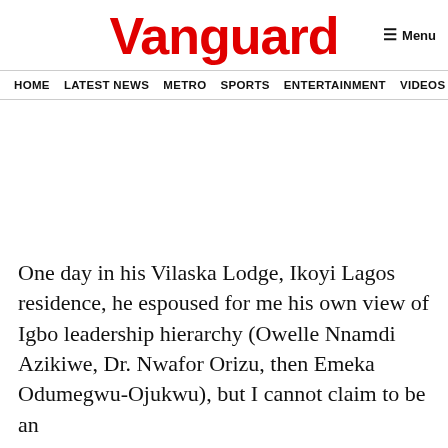Vanguard
HOME  LATEST NEWS  METRO  SPORTS  ENTERTAINMENT  VIDEOS
One day in his Vilaska Lodge, Ikoyi Lagos residence, he espoused for me his own view of Igbo leadership hierarchy (Owelle Nnamdi Azikiwe, Dr. Nwafor Orizu, then Emeka Odumegwu-Ojukwu), but I cannot claim to be an